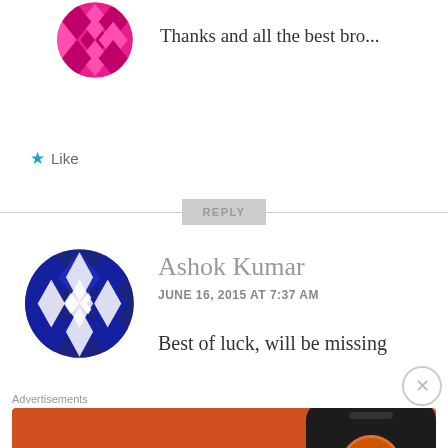[Figure (illustration): Pink geometric avatar icon (partial, cropped at top)]
Thanks and all the best bro...
★ Like
REPLY
[Figure (illustration): Blue geometric avatar icon for Ashok Kumar]
Ashok Kumar
JUNE 16, 2015 AT 7:37 AM
Best of luck, will be missing
Advertisements
[Figure (illustration): DuckDuckGo advertisement banner with orange background. Text: Search, browse, and email with more privacy. All in One Free App. Shows DuckDuckGo app on phone.]